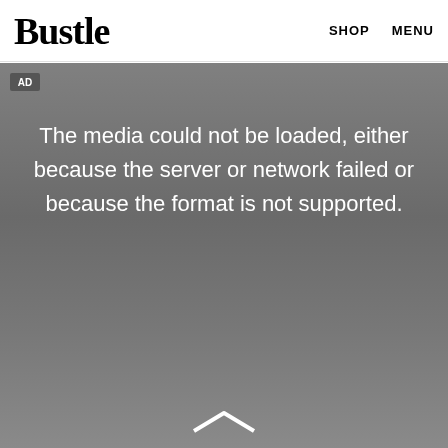Bustle   SHOP   MENU
AD
The media could not be loaded, either because the server or network failed or because the format is not supported.
[Figure (other): Gray gradient media player background with a chevron/play button icon at the bottom center, showing a video error state]